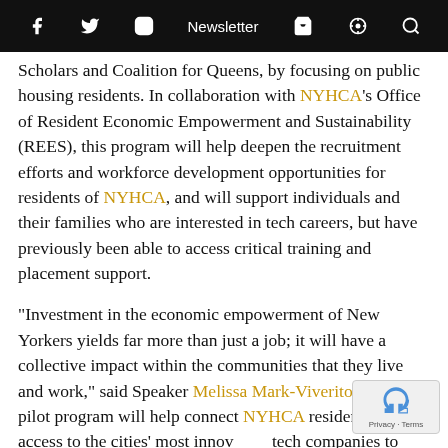f  [twitter]  [instagram]  Newsletter  [cart]  [podcast]  [search]
Scholars and Coalition for Queens, by focusing on public housing residents. In collaboration with NYHCA's Office of Resident Economic Empowerment and Sustainability (REES), this program will help deepen the recruitment efforts and workforce development opportunities for residents of NYHCA, and will support individuals and their families who are interested in tech careers, but have previously been able to access critical training and placement support.
“Investment in the economic empowerment of New Yorkers yields far more than just a job; it will have a collective impact within the communities that they live and work,” said Speaker Melissa Mark-Viverito. “This pilot program will help connect NYHCA residents with access to the cities’ most innovative tech companies to help them break into the tech sector. Through the collaboration of our partners in the tech, w…